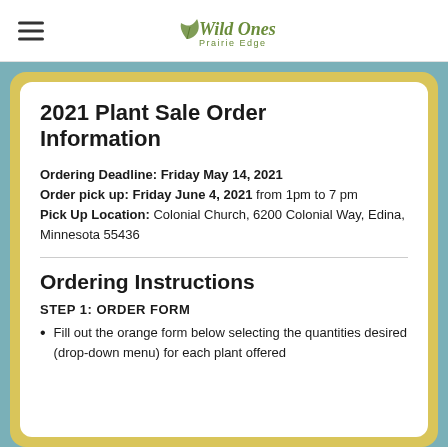Wild Ones Prairie Edge
2021 Plant Sale Order Information
Ordering Deadline: Friday May 14, 2021
Order pick up: Friday June 4, 2021 from 1pm to 7 pm
Pick Up Location: Colonial Church, 6200 Colonial Way, Edina, Minnesota 55436
Ordering Instructions
STEP 1: ORDER FORM
Fill out the orange form below selecting the quantities desired (drop-down menu) for each plant offered